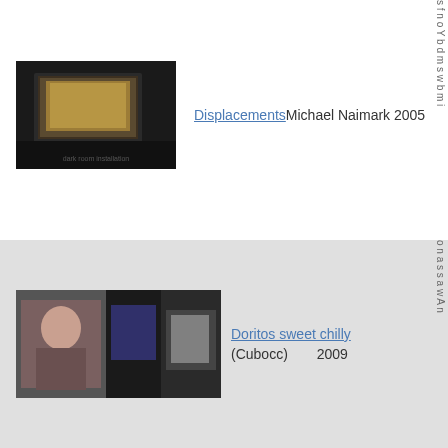[Figure (photo): Thumbnail of a dark room with a glowing screen showing artwork - Displacements by Michael Naimark]
Displacements Michael Naimark 2005
[Figure (photo): Thumbnail collage showing a person and display screens - Doritos sweet chilly by Cubocc 2009]
Doritos sweet chilly (Cubocc) 2009